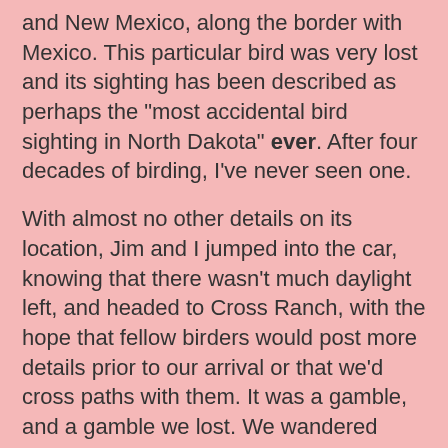and New Mexico, along the border with Mexico. This particular bird was very lost and its sighting has been described as perhaps the "most accidental bird sighting in North Dakota" ever. After four decades of birding, I've never seen one.
With almost no other details on its location, Jim and I jumped into the car, knowing that there wasn't much daylight left, and headed to Cross Ranch, with the hope that fellow birders would post more details prior to our arrival or that we'd cross paths with them. It was a gamble, and a gamble we lost. We wandered around until dark looking for our birding friends and managed to acquire some damage to our car when I failed to spot a log in some tall grass and hit it hard. Jim just laughed and said, "I love an adventure!"
We did get to watch the gorgeous Hunter's Moon rise up over the banks of the Missouri River and found a huge Bald Eagle nest.
Later that night, more details about the sighting and its location were shared. Here is the link on EBird that tells